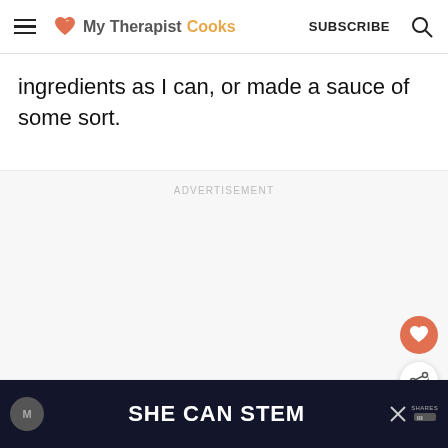My Therapist Cooks — SUBSCRIBE
ingredients as I can, or made a sauce of some sort.
ADVERTISEMENT
WHAT'S NEXT → Prep Time
SHE CAN STEM